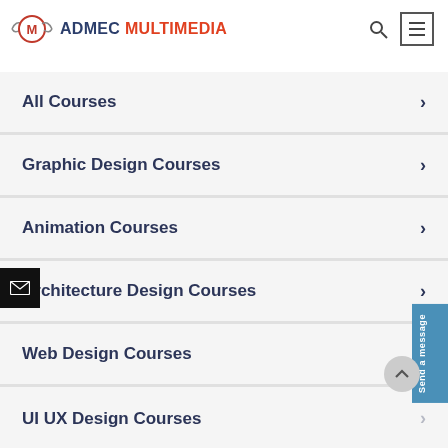ADMEC MULTIMEDIA
All Courses
Graphic Design Courses
Animation Courses
Architecture Design Courses
Web Design Courses
UI UX Design Courses